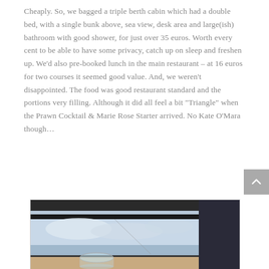Cheaply. So, we bagged a triple berth cabin which had a double bed, with a single bunk above, sea view, desk area and large(ish) bathroom with good shower, for just over 35 euros. Worth every cent to be able to have some privacy, catch up on sleep and freshen up. We'd also pre-booked lunch in the main restaurant – at 16 euros for two courses it seemed good value. And, we weren't disappointed. The food was good restaurant standard and the portions very filling. Although it did all feel a bit "Triangle" when the Prawn Cocktail & Marie Rose Starter arrived. No Kate O'Mara though…
[Figure (photo): A photo taken from inside a ferry or ship restaurant/lounge, showing a glass on a table with a sea view through the window and cloudy sky visible outside.]